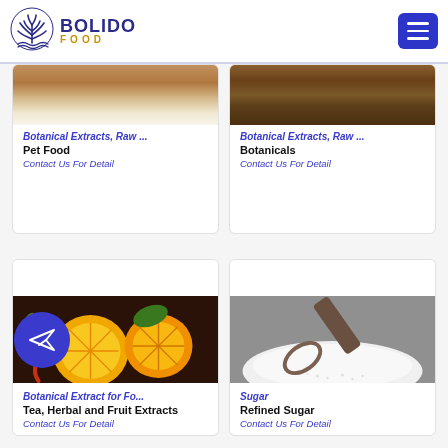Bolido Food
[Figure (photo): Partial product card image - pet food botanical extract (top cropped image)]
Botanical Extracts, Raw ...
Pet Food
Contact Us For Detail
[Figure (photo): Partial product card image - botanicals botanical extract (top cropped image, dried botanicals)]
Botanical Extracts, Raw ...
Botanicals
Contact Us For Detail
[Figure (photo): Product card image - citrus fruits and spices for botanical extract for food]
Botanical Extract for Fo...
Tea, Herbal and Fruit Extracts
Contact Us For Detail
[Figure (photo): Product card image - sugar pile with scoop]
Sugar
Refined Sugar
Contact Us For Detail